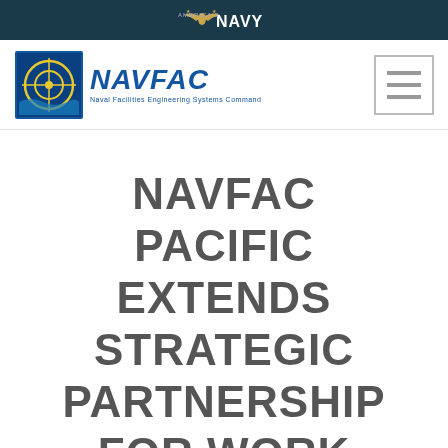AMERICA'S NAVY
[Figure (logo): NAVFAC Naval Facilities Engineering Systems Command logo with navigation icon]
[Figure (other): Hamburger menu icon (three horizontal lines)]
NAVFAC PACIFIC EXTENDS STRATEGIC PARTNERSHIP FOR WORK IN AUSTRALIA